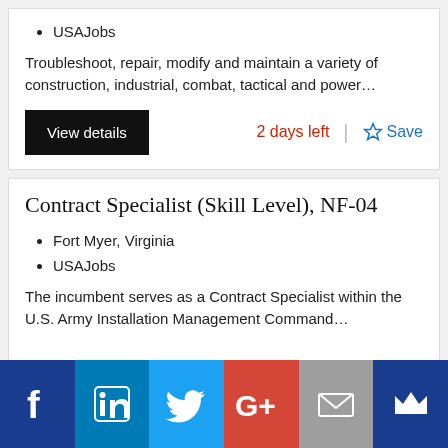USAJobs
Troubleshoot, repair, modify and maintain a variety of construction, industrial, combat, tactical and power…
View details | 2 days left | Save
Contract Specialist (Skill Level), NF-04
Fort Myer, Virginia
USAJobs
The incumbent serves as a Contract Specialist within the U.S. Army Installation Management Command…
[Figure (infographic): Social sharing bar with icons for Facebook, LinkedIn, Twitter, Google+, Email, and Mightybell]